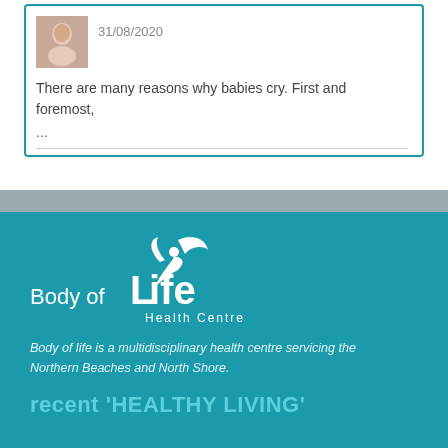[Figure (photo): Thumbnail photo of a baby]
31/08/2020
There are many reasons why babies cry. First and foremost,
...
[Figure (logo): Body of Life Health Centre logo in white on teal background]
Body of life is a multidisciplinary health centre servicing the Northern Beaches and North Shore.
recent 'HEALTHY LIVING'